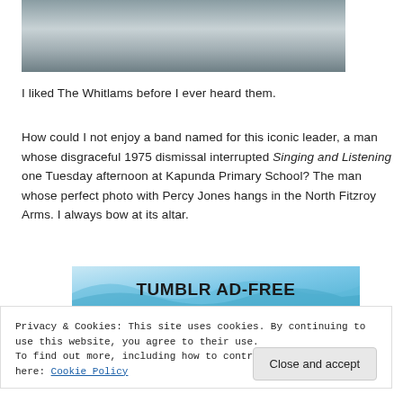[Figure (photo): Partial photo of a framed picture, showing a grey/metallic surface with a dark horizontal bar.]
I liked The Whitlams before I ever heard them.
How could I not enjoy a band named for this iconic leader, a man whose disgraceful 1975 dismissal interrupted Singing and Listening one Tuesday afternoon at Kapunda Primary School? The man whose perfect photo with Percy Jones hangs in the North Fitzroy Arms. I always bow at its altar.
[Figure (screenshot): Tumblr Ad-Free promotional banner with blue wave background and bold text 'TUMBLR AD-FREE']
Privacy & Cookies: This site uses cookies. By continuing to use this website, you agree to their use.
To find out more, including how to control cookies, see here: Cookie Policy
Close and accept